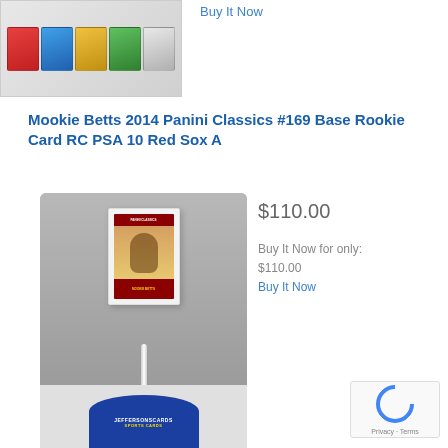[Figure (photo): Partial view of trading card pack/lot image at top of listing]
Buy It Now
Mookie Betts 2014 Panini Classics #169 Base Rookie Card RC PSA 10 Red Sox A
[Figure (photo): PSA graded Mookie Betts rookie card displayed on a card stand with a sports cards dealer logo base]
$110.00
Buy It Now for only:
$110.00
Buy It Now
[Figure (other): reCAPTCHA verification widget with Privacy and Terms links]